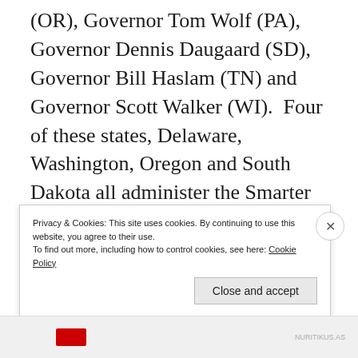(OR), Governor Tom Wolf (PA), Governor Dennis Daugaard (SD), Governor Bill Haslam (TN) and Governor Scott Walker (WI).  Four of these states, Delaware, Washington, Oregon and South Dakota all administer the Smarter Balanced Assessment.  None of these Governors represent the nine states where the PARCC assessment is administered.
Privacy & Cookies: This site uses cookies. By continuing to use this website, you agree to their use.
To find out more, including how to control cookies, see here: Cookie Policy